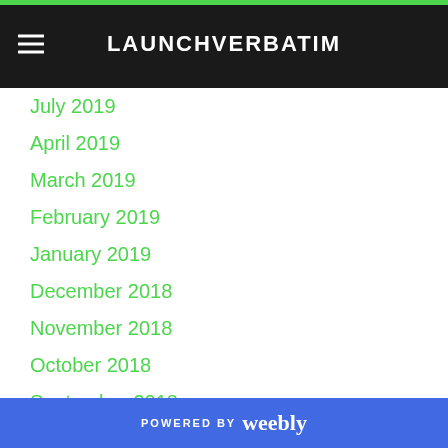LAUNCHVERBATIM
September 2019
August 2019
July 2019
April 2019
March 2019
February 2019
January 2019
December 2018
November 2018
October 2018
September 2018
August 2018
July 2018
June 2018
May 2018
April 2018
March 2018
POWERED BY weebly